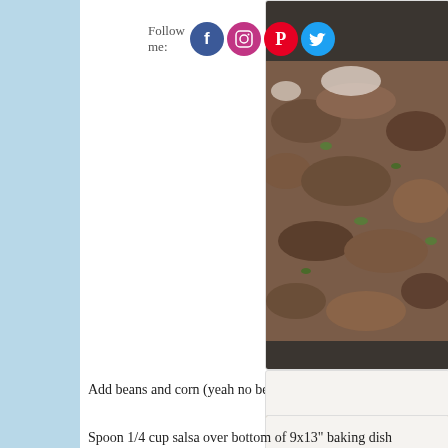[Figure (photo): Social media follow icons for Facebook, Instagram, Pinterest, Twitter with 'Follow me:' text label]
[Figure (photo): Close-up photo of cooked ground beef mixture with peppers and onions in a dark pan]
Add beans and corn (yeah no beans in this photo, it was a la
[Figure (photo): Close-up photo of ground beef mixture with corn kernels mixed in]
Spoon 1/4 cup salsa over bottom of 9x13" baking dish